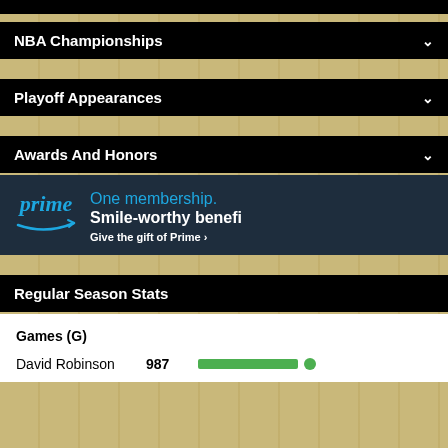NBA Championships
Playoff Appearances
Awards And Honors
[Figure (other): Amazon Prime advertisement banner: 'One membership. Smile-worthy benefits. Give the gift of Prime ›']
Regular Season Stats
Games (G)
David Robinson  987